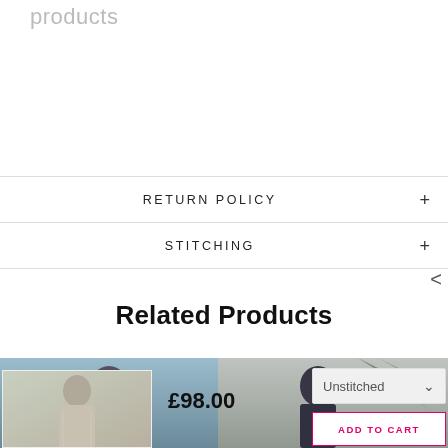products
RETURN POLICY
STITCHING
Related Products
[Figure (photo): Two product photos of women in traditional dress, side by side, with a small thumbnail at bottom left showing a woman in a white/cream embroidered outfit]
£98.00
Unstitched
ADD TO CART